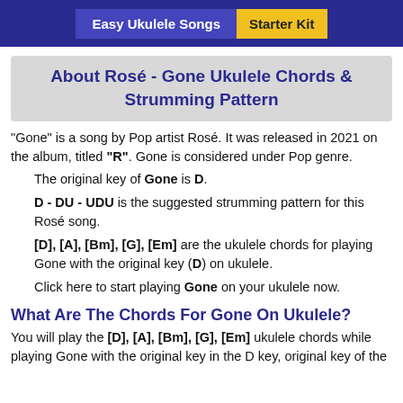Easy Ukulele Songs | Starter Kit
About Rosé - Gone Ukulele Chords & Strumming Pattern
"Gone" is a song by Pop artist Rosé. It was released in 2021 on the album, titled "R". Gone is considered under Pop genre.
The original key of Gone is D.
D - DU - UDU is the suggested strumming pattern for this Rosé song.
[D], [A], [Bm], [G], [Em] are the ukulele chords for playing Gone with the original key (D) on ukulele.
Click here to start playing Gone on your ukulele now.
What Are The Chords For Gone On Ukulele?
You will play the [D], [A], [Bm], [G], [Em] ukulele chords while playing Gone with the original key in the D key, original key of the...